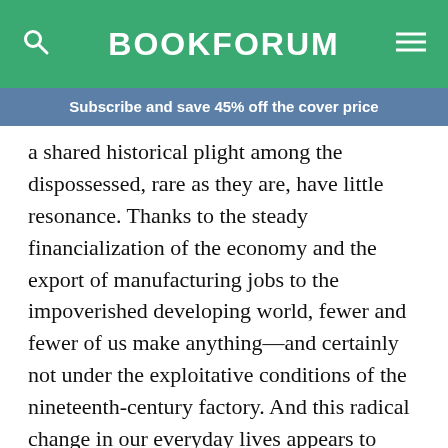BOOKFORUM
Subscribe and save 45% off the cover price
a shared historical plight among the dispossessed, rare as they are, have little resonance. Thanks to the steady financialization of the economy and the export of manufacturing jobs to the impoverished developing world, fewer and fewer of us make anything—and certainly not under the exploitative conditions of the nineteenth-century factory. And this radical change in our everyday lives appears to have sharply weakened, if not altogether severed, our direct relationship to the rich.
You have 5 free articles remaining. Subscribe for unlimited access.